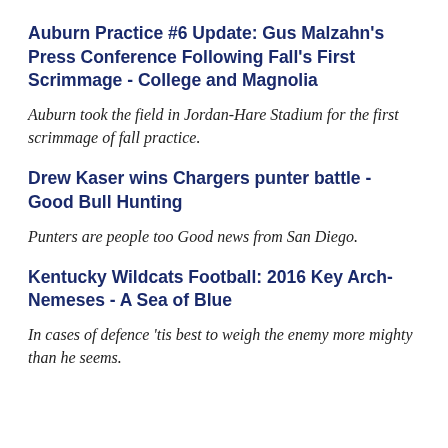Auburn Practice #6 Update: Gus Malzahn's Press Conference Following Fall's First Scrimmage - College and Magnolia
Auburn took the field in Jordan-Hare Stadium for the first scrimmage of fall practice.
Drew Kaser wins Chargers punter battle - Good Bull Hunting
Punters are people too Good news from San Diego.
Kentucky Wildcats Football: 2016 Key Arch-Nemeses - A Sea of Blue
In cases of defence 'tis best to weigh the enemy more mighty than he seems.